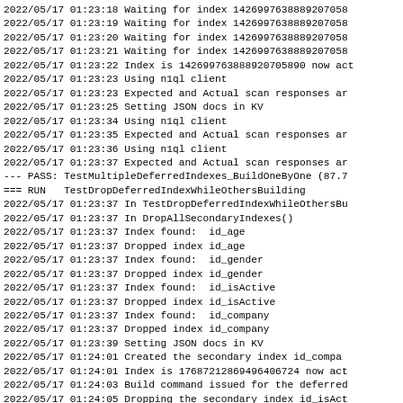2022/05/17 01:23:18 Waiting for index 142699763889207058
2022/05/17 01:23:19 Waiting for index 142699763889207058
2022/05/17 01:23:20 Waiting for index 142699763889207058
2022/05/17 01:23:21 Waiting for index 142699763889207058
2022/05/17 01:23:22 Index is 142699763889207058 now act
2022/05/17 01:23:23 Using n1ql client
2022/05/17 01:23:23 Expected and Actual scan responses ar
2022/05/17 01:23:25 Setting JSON docs in KV
2022/05/17 01:23:34 Using n1ql client
2022/05/17 01:23:35 Expected and Actual scan responses ar
2022/05/17 01:23:36 Using n1ql client
2022/05/17 01:23:37 Expected and Actual scan responses ar
--- PASS: TestMultipleDeferredIndexes_BuildOneByOne (87.7
=== RUN   TestDropDeferredIndexWhileOthersBuilding
2022/05/17 01:23:37 In TestDropDeferredIndexWhileOthersBu
2022/05/17 01:23:37 In DropAllSecondaryIndexes()
2022/05/17 01:23:37 Index found:  id_age
2022/05/17 01:23:37 Dropped index id_age
2022/05/17 01:23:37 Index found:  id_gender
2022/05/17 01:23:37 Dropped index id_gender
2022/05/17 01:23:37 Index found:  id_isActive
2022/05/17 01:23:37 Dropped index id_isActive
2022/05/17 01:23:37 Index found:  id_company
2022/05/17 01:23:37 Dropped index id_company
2022/05/17 01:23:39 Setting JSON docs in KV
2022/05/17 01:24:01 Created the secondary index id_compa
2022/05/17 01:24:01 Index is 17687212869496406724 now act
2022/05/17 01:24:03 Build command issued for the deferred
2022/05/17 01:24:05 Dropping the secondary index id_isAct
2022/05/17 01:24:05 Index dropped